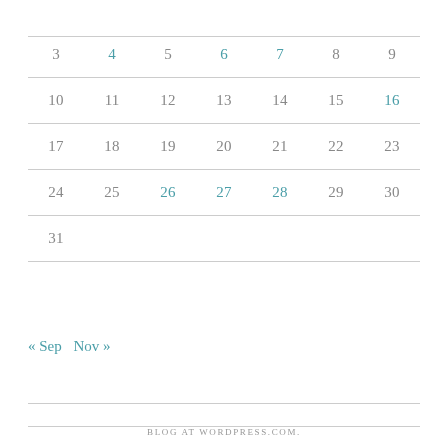| 3 | 4 | 5 | 6 | 7 | 8 | 9 |
| 10 | 11 | 12 | 13 | 14 | 15 | 16 |
| 17 | 18 | 19 | 20 | 21 | 22 | 23 |
| 24 | 25 | 26 | 27 | 28 | 29 | 30 |
| 31 |  |  |  |  |  |  |
« Sep   Nov »
BLOG AT WORDPRESS.COM.